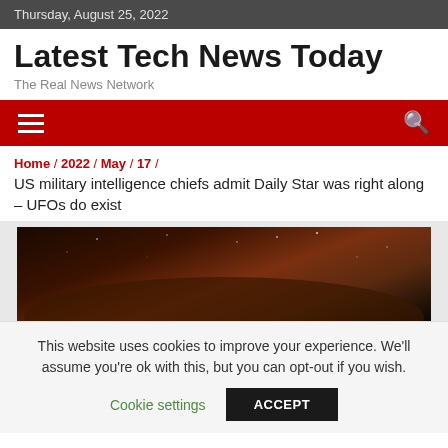Thursday, August 25, 2022
Latest Tech News Today
The Real News Network
[Figure (other): Red navigation bar with hamburger menu icon on left and search icon on right]
Home / 2022 / May / 17 /
US military intelligence chiefs admit Daily Star was right along – UFOs do exist
[Figure (photo): Dark night sky with stars and a glowing reddish-brown nebula or atmospheric scene]
This website uses cookies to improve your experience. We'll assume you're ok with this, but you can opt-out if you wish.
Cookie settings   ACCEPT